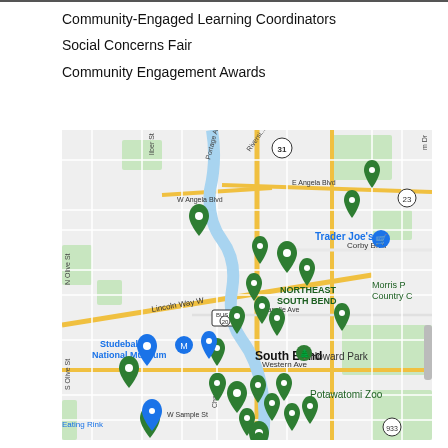Community-Engaged Learning Coordinators
Social Concerns Fair
Community Engagement Awards
[Figure (map): Google Maps view of South Bend, Indiana area showing multiple green location pin markers clustered around the city center, with landmarks including Trader Joe's, Studebaker National Museum, Howard Park, Potawatomi Zoo, Northeast South Bend, and Morris Park Country Club visible. Major roads shown include Lincoln Way W, E Angela Blvd, W Angela Blvd, Corby Blvd, E Lasalle Ave, Western Ave, and W Sample St. Route markers for US-31, BUS-20, and Route 933 are visible.]